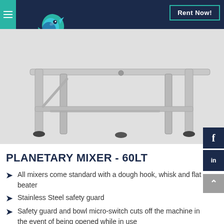Ascot Rental Solutions — Rent Now!
[Figure (photo): Stainless steel base frame/stand of a planetary mixer with adjustable feet and cross-bar supports, on a light grey background.]
PLANETARY MIXER - 60LT
All mixers come standard with a dough hook, whisk and flat beater
Stainless Steel safety guard
Safety guard and bowl micro-switch cuts off the machine in the event of being opened while in use